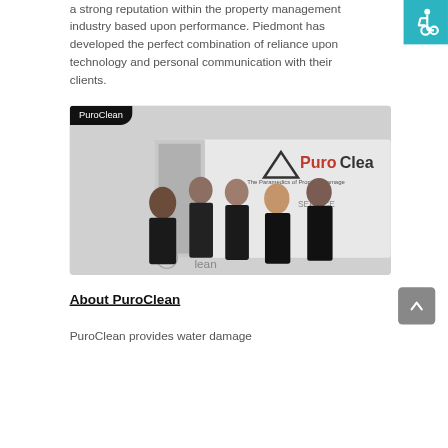a strong reputation within the property management industry based upon performance.  Piedmont has developed the perfect combination of reliance upon technology and personal communication with their clients.
[Figure (photo): Group photo of PuroClean team members in black uniforms standing in front of a white PuroClean branded van. The PuroClean logo and tagline 'The Paramedics of Property Damage' are visible on the van.]
About PuroClean
PuroClean provides water damage